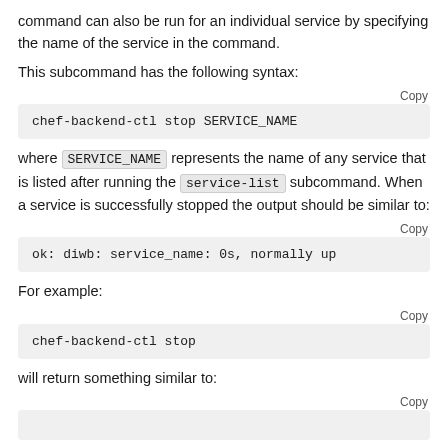command can also be run for an individual service by specifying the name of the service in the command.
This subcommand has the following syntax:
Copy
chef-backend-ctl stop SERVICE_NAME
where SERVICE_NAME represents the name of any service that is listed after running the service-list subcommand. When a service is successfully stopped the output should be similar to:
Copy
ok: diwb: service_name: 0s, normally up
For example:
Copy
chef-backend-ctl stop
will return something similar to:
Copy